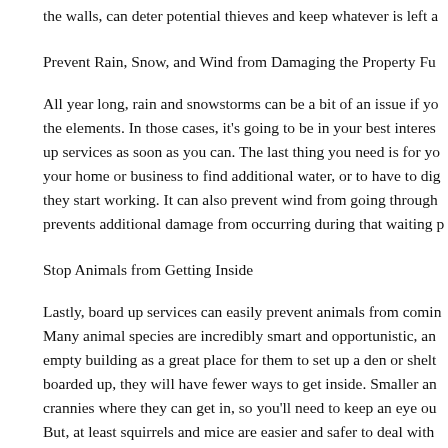the walls, can deter potential thieves and keep whatever is left a
Prevent Rain, Snow, and Wind from Damaging the Property Fu
All year long, rain and snowstorms can be a bit of an issue if yo the elements. In those cases, it's going to be in your best interes up services as soon as you can. The last thing you need is for yo your home or business to find additional water, or to have to dig they start working. It can also prevent wind from going through prevents additional damage from occurring during that waiting p
Stop Animals from Getting Inside
Lastly, board up services can easily prevent animals from comin Many animal species are incredibly smart and opportunistic, an empty building as a great place for them to set up a den or shelt boarded up, they will have fewer ways to get inside. Smaller an crannies where they can get in, so you'll need to keep an eye ou But, at least squirrels and mice are easier and safer to deal with